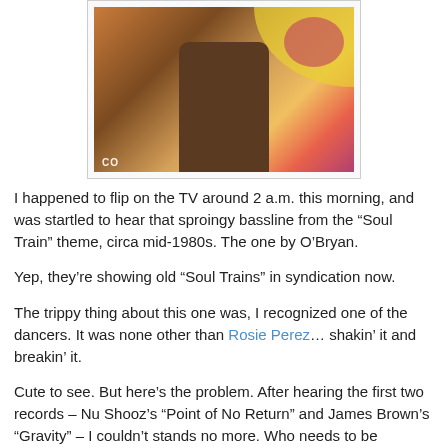[Figure (photo): A person holding a microphone on a colorful TV show set, appearing to be from a Soul Train episode with vibrant swirling background decorations.]
I happened to flip on the TV around 2 a.m. this morning, and was startled to hear that sproingy bassline from the “Soul Train” theme, circa mid-1980s. The one by O’Bryan.
Yep, they’re showing old “Soul Trains” in syndication now.
The trippy thing about this one was, I recognized one of the dancers. It was none other than Rosie Perez... shakin’ it and breakin’ it.
Cute to see. But here’s the problem. After hearing the first two records – Nu Shooz’s “Point of No Return” and James Brown’s “Gravity” – I couldn’t stands no more. Who needs to be reminded just how sucktastic and craptacular mid-’80s music was?